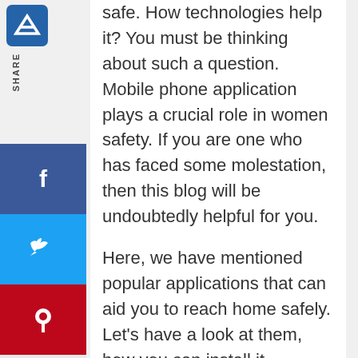safe. How technologies help it? You must be thinking about such a question. Mobile phone application plays a crucial role in women safety. If you are one who has faced some molestation, then this blog will be undoubtedly helpful for you.
Here, we have mentioned popular applications that can aid you to reach home safely. Let's have a look at them, how you can install it.
Trendy Apps For Women Safety
We almost covered some popular ones, including a paid and free version. But